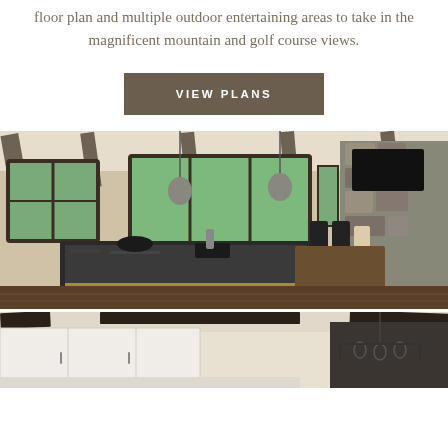floor plan and multiple outdoor entertaining areas to take in the magnificent mountain and golf course views.
VIEW PLANS
[Figure (photo): Interior photo of a luxury home kitchen and dining area with dark granite island, wooden cabinetry, pendant lights, exposed beam ceiling, large windows, and a stone fireplace in the background with dining chairs.]
[Figure (photo): Interior photo of a luxury home showing white upper cabinetry, dark exposed beams, and pendant chandelier.]